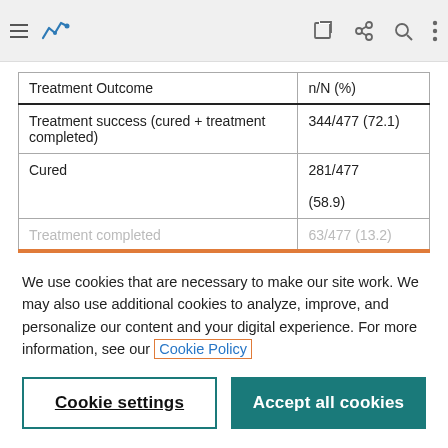[Figure (screenshot): Mobile browser navigation bar with hamburger menu, blue analytics icon, edit icon, share icon, search icon, and more options icon on a light gray background.]
| Treatment Outcome | n/N (%) |
| --- | --- |
| Treatment success (cured + treatment completed) | 344/477 (72.1) |
| Cured | 281/477 (58.9) |
| Treatment completed | 63/477 (13.2) |
We use cookies that are necessary to make our site work. We may also use additional cookies to analyze, improve, and personalize our content and your digital experience. For more information, see our Cookie Policy
Cookie settings
Accept all cookies